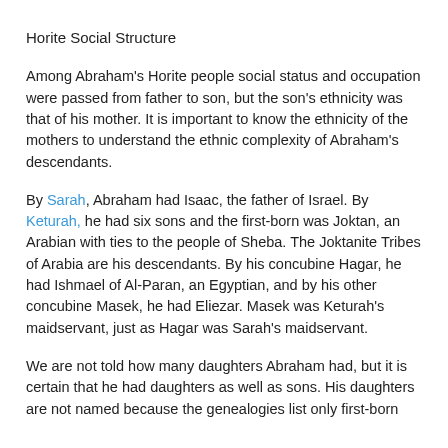Horite Social Structure
Among Abraham's Horite people social status and occupation were passed from father to son, but the son's ethnicity was that of his mother. It is important to know the ethnicity of the mothers to understand the ethnic complexity of Abraham's descendants.
By Sarah, Abraham had Isaac, the father of Israel. By Keturah, he had six sons and the first-born was Joktan, an Arabian with ties to the people of Sheba. The Joktanite Tribes of Arabia are his descendants. By his concubine Hagar, he had Ishmael of Al-Paran, an Egyptian, and by his other concubine Masek, he had Eliezar. Masek was Keturah's maidservant, just as Hagar was Sarah's maidservant.
We are not told how many daughters Abraham had, but it is certain that he had daughters as well as sons. His daughters are not named because the genealogies list only first-born sons, though daughters could be...